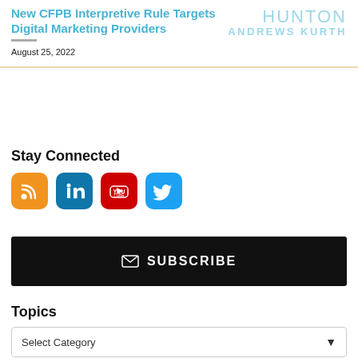New CFPB Interpretive Rule Targets Digital Marketing Providers
August 25, 2022
[Figure (logo): Hunton Andrews Kurth law firm logo in light blue text]
Stay Connected
[Figure (infographic): Social media icons: RSS (orange), LinkedIn (blue), YouTube (red), Twitter (light blue)]
✉ SUBSCRIBE
Topics
Select Category